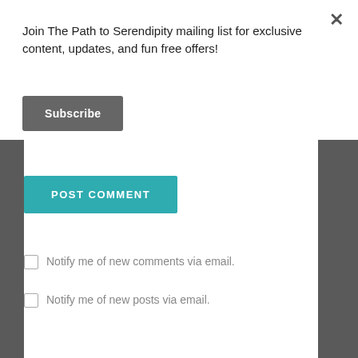Join The Path to Serendipity mailing list for exclusive content, updates, and fun free offers!
Subscribe
POST COMMENT
Notify me of new comments via email.
Notify me of new posts via email.